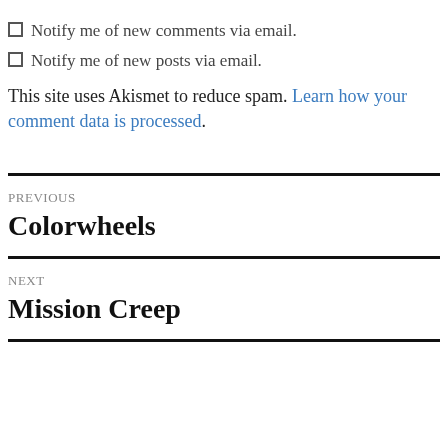Notify me of new comments via email.
Notify me of new posts via email.
This site uses Akismet to reduce spam. Learn how your comment data is processed.
PREVIOUS
Colorwheels
NEXT
Mission Creep